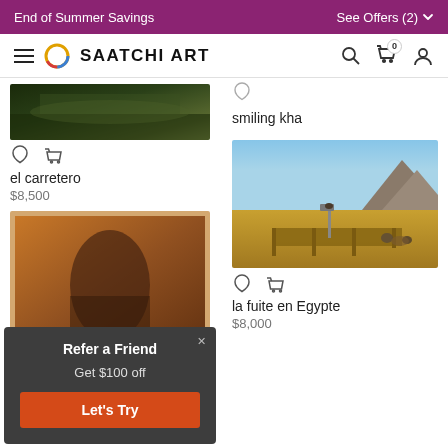End of Summer Savings  See Offers (2)
[Figure (screenshot): Saatchi Art navigation bar with hamburger menu, logo, search, cart and account icons]
[Figure (photo): Artwork image: el carretero - landscape painting]
el carretero
$8,500
smiling kha
[Figure (photo): Artwork image: la fuite en Egypte - landscape painting with mountains and figures]
la fuite en Egypte
$8,000
[Figure (photo): Artwork image: bottom left artwork with orange/brown tones and arch shape]
Refer a Friend
Get $100 off
Let's Try